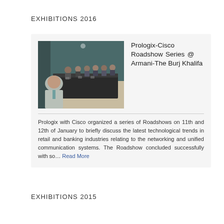EXHIBITIONS 2016
[Figure (photo): Conference room with people seated around a long table in a formal meeting setting]
Prologix-Cisco Roadshow Series @ Armani-The Burj Khalifa
Prologix with Cisco organized a series of Roadshows on 11th and 12th of January to briefly discuss the latest technological trends in retail and banking industries relating to the networking and unified communication systems. The Roadshow concluded successfully with so...
EXHIBITIONS 2015